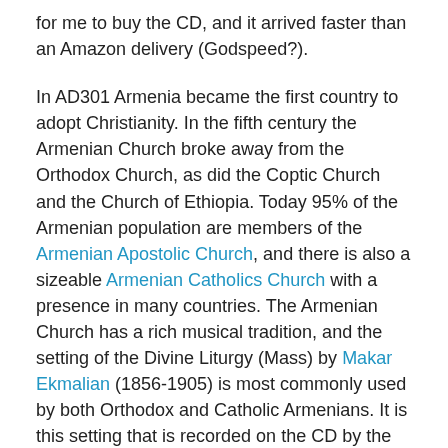for me to buy the CD, and it arrived faster than an Amazon delivery (Godspeed?).
In AD301 Armenia became the first country to adopt Christianity. In the fifth century the Armenian Church broke away from the Orthodox Church, as did the Coptic Church and the Church of Ethiopia. Today 95% of the Armenian population are members of the Armenian Apostolic Church, and there is also a sizeable Armenian Catholics Church with a presence in many countries. The Armenian Church has a rich musical tradition, and the setting of the Divine Liturgy (Mass) by Makar Ekmalian (1856-1905) is most commonly used by both Orthodox and Catholic Armenians. It is this setting that is recorded on the CD by the Armenian Choir of Sofia in Bulgaria, directed by Bedros Paian. Unusually for a church that emerged from the Orthodox Rite, Makar Ekmalian's setting uses an organ and mixed voices.
Sometimes when I buy a CD like this 'blind', I find the music